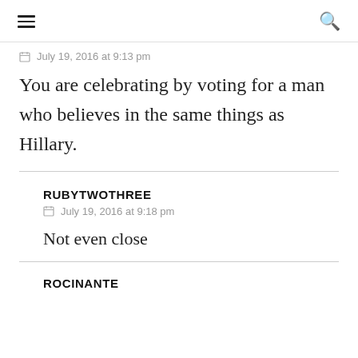≡  🔍
July 19, 2016 at 9:13 pm
You are celebrating by voting for a man who believes in the same things as Hillary.
RUBYTWOTHREE
July 19, 2016 at 9:18 pm
Not even close
ROCINANTE